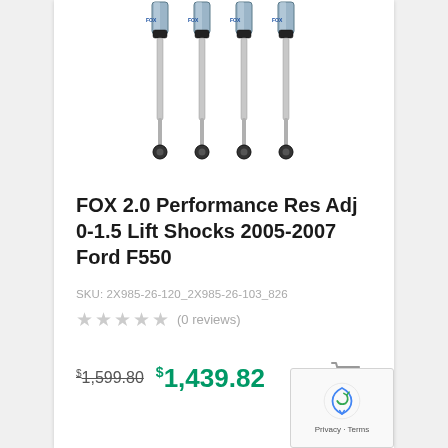[Figure (photo): Four FOX 2.0 Performance shock absorbers shown from above, vertically arranged, silver/chrome with black accents and blue branding]
FOX 2.0 Performance Res Adj 0-1.5 Lift Shocks 2005-2007 Ford F550
SKU: 2X985-26-120_2X985-26-103_826
★★★★★ (0 reviews)
$1,599.80  $1,439.82